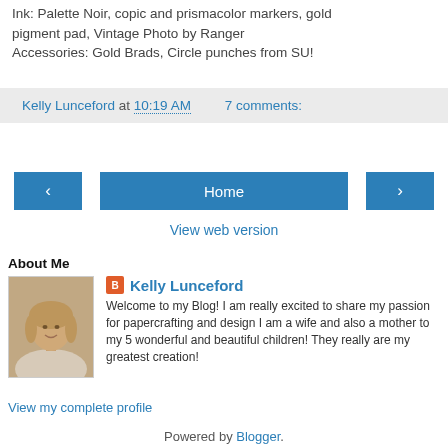Ink: Palette Noir, copic and prismacolor markers, gold pigment pad, Vintage Photo by Ranger
Accessories: Gold Brads, Circle punches from SU!
Kelly Lunceford at 10:19 AM   7 comments:
[Figure (screenshot): Navigation buttons: left arrow, Home, right arrow]
View web version
About Me
[Figure (photo): Photo of Kelly Lunceford, a woman with blonde hair smiling, sepia toned]
Kelly Lunceford
Welcome to my Blog! I am really excited to share my passion for papercrafting and design I am a wife and also a mother to my 5 wonderful and beautiful children! They really are my greatest creation!
View my complete profile
Powered by Blogger.